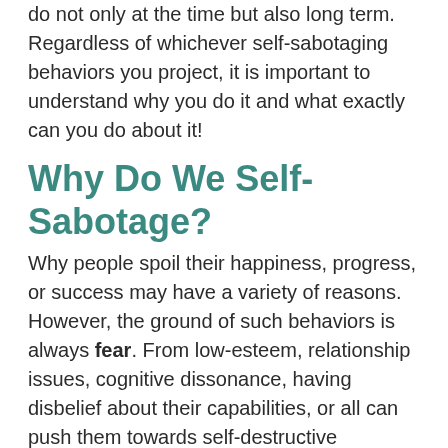do not only at the time but also long term. Regardless of whichever self-sabotaging behaviors you project, it is important to understand why you do it and what exactly can you do about it!
Why Do We Self-Sabotage?
Why people spoil their happiness, progress, or success may have a variety of reasons. However, the ground of such behaviors is always fear. From low-esteem, relationship issues, cognitive dissonance, having disbelief about their capabilities, or all can push them towards self-destructive behaviors.
If you think about it, no one intentionally wants to sabotage their life to set themselves a hundred steps behind. Then why do people act a certain